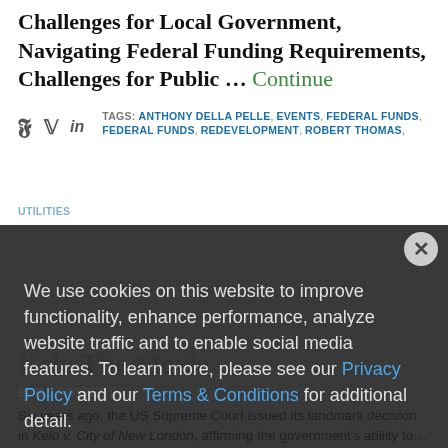Challenges for Local Government, Navigating Federal Funding Requirements, Challenges for Public … Continue
TAGS: ANTHONY DELLA PELLE, EVENTS, FEDERAL FUNDS, REDEVELOPMENT, ROBERT THOMAS, UTILITIES
Kelo The Movie
By B... POSTED IN...
Six years ago, the US Supreme Court issued its landmark decision in Kelo v. City of New London, affirming the government's ability to...
We use cookies on this website to improve functionality, enhance performance, analyze website traffic and to enable social media features. To learn more, please see our Privacy Policy and our Terms & Conditions for additional detail.